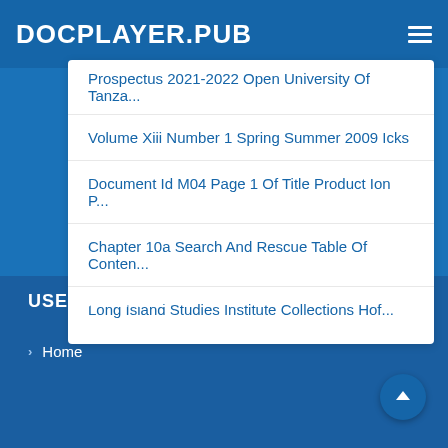DOCPLAYER.PUB
Prospectus 2021-2022 Open University Of Tanza...
Volume Xiii Number 1 Spring Summer 2009 Icks
Document Id M04 Page 1 Of Title Product Ion P...
Chapter 10a Search And Rescue Table Of Conten...
Long Island Studies Institute Collections Hof...
USEFUL LINKS
Home